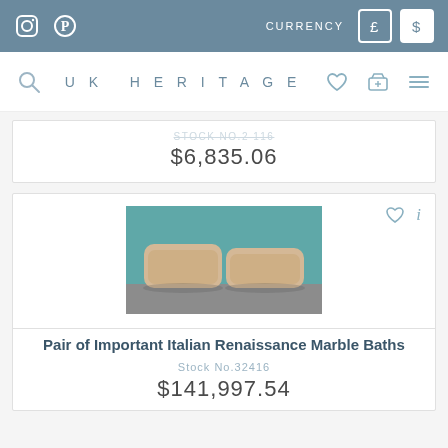UK HERITAGE — social icons, currency toggle (£/$)
Stock No.2416 — $6,835.06
[Figure (photo): Two rectangular stone/marble bathtubs side by side against a teal background]
Pair of Important Italian Renaissance Marble Baths
Stock No.32416
$141,997.54